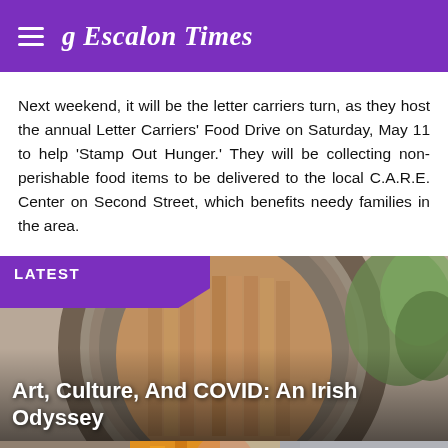Escalon Times
Next weekend, it will be the letter carriers turn, as they host the annual Letter Carriers' Food Drive on Saturday, May 11 to help 'Stamp Out Hunger.' They will be collecting non-perishable food items to be delivered to the local C.A.R.E. Center on Second Street, which benefits needy families in the area.
LATEST
[Figure (photo): Arched wooden door with stone surround, with green foliage visible to the right. Overlay text reads 'Art, Culture, And COVID: An Irish Odyssey']
Art, Culture, And COVID: An Irish Odyssey
[Figure (photo): Partial bottom image showing colorful artwork or mural, partially cropped]